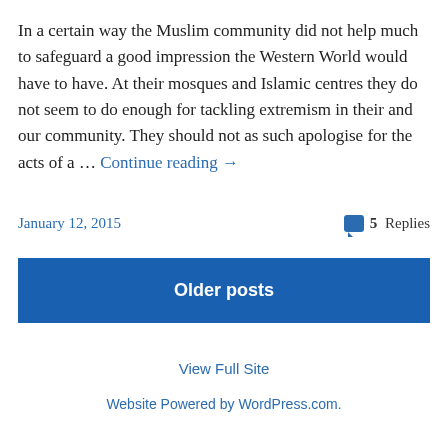In a certain way the Muslim community did not help much to safeguard a good impression the Western World would have to have. At their mosques and Islamic centres they do not seem to do enough for tackling extremism in their and our community. They should not as such apologise for the acts of a … Continue reading →
January 12, 2015
5 Replies
Older posts
View Full Site
Website Powered by WordPress.com.